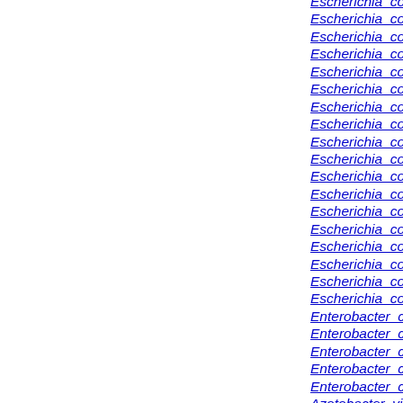Escherichia_coli_536
Escherichia_coli_HS
Escherichia_coli_ETEC_H10407
Escherichia_coli_O55:H7_str._RM12579
Escherichia_coli_O55:H7_str._CB9615
Escherichia_coli_O26:H11_str._11368
Escherichia_coli_CFT073
Escherichia_coli_O111:H-_str._11128
Escherichia_coli_O127:H6_str._E2348/69
Escherichia_coli_O157:H7_str._TW14359
Escherichia_coli_O157:H7_str._EC4115
Escherichia_coli_O157:H7_str._Sakai
Escherichia_coli_O157:H7_str._EDL933
Escherichia_coli_BW2952
Escherichia_coli_str._K-12_substr._MG1655
Escherichia_coli_str._K-12_substr._W3110
Escherichia_coli_str._K-12_substr._DH10B
Escherichia_coli_B_str._REL606
Enterobacter_cloacae_SCF1
Enterobacter_cloacae_EcWSU1
Enterobacter_cloacae_subsp._cloacae_ENHKU01
Enterobacter_cloacae_subsp._cloacae_NCTC_93
Enterobacter_cloacae_subsp._cloacae_ATCC_13
Azotobacter_vinelandii_CA6
Azotobacter_vinelandii_CA
Pseudomonas_denitrificans_ATCC_13867
Pseudomonas_syringae_pv._phaseolicola_1448A
Pseudomonas_syringae_pv._syringae_B728a
Pseudomonas_stutzeri_CCUG_29243
Pseudomonas_stutzeri_DSM_10701